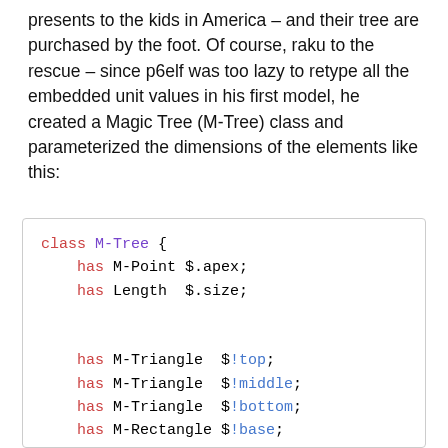presents to the kids in America – and their tree are purchased by the foot. Of course, raku to the rescue – since p6elf was too lazy to retype all the embedded unit values in his first model, he created a Magic Tree (M-Tree) class and parameterized the dimensions of the elements like this:
class M-Tree {
    has M-Point $.apex;
    has Length  $.size;

    has M-Triangle  $!top;
    has M-Triangle  $!middle;
    has M-Triangle  $!bottom;
    has M-Rectangle $!base;

    method elements {